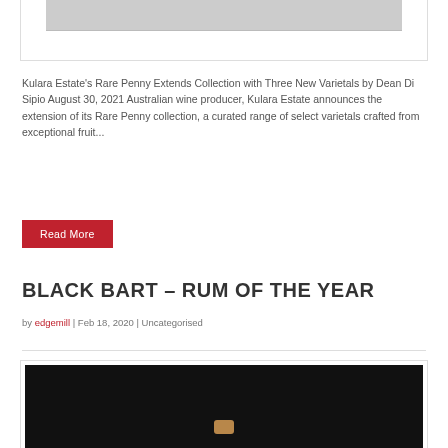[Figure (photo): Top portion of a wine/article card image, partially visible at the top of the page]
Kulara Estate's Rare Penny Extends Collection with Three New Varietals by Dean Di Sipio August 30, 2021 Australian wine producer, Kulara Estate announces the extension of its Rare Penny collection, a curated range of select varietals crafted from exceptional fruit...
Read More
BLACK BART – RUM OF THE YEAR
by edgemill | Feb 18, 2020 | Uncategorised
[Figure (photo): Dark background photo showing what appears to be a bottle cork or stopper on a black surface]